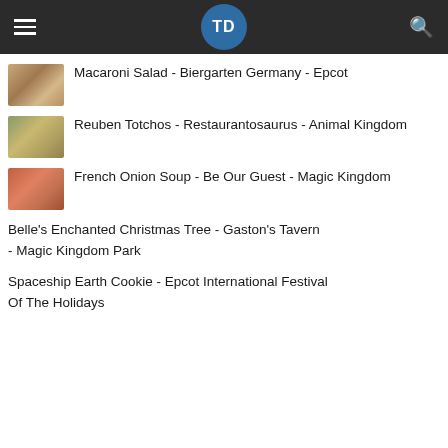TD (logo navigation bar)
Macaroni Salad - Biergarten Germany - Epcot
Reuben Totchos - Restaurantosaurus - Animal Kingdom
French Onion Soup - Be Our Guest - Magic Kingdom
Belle's Enchanted Christmas Tree - Gaston's Tavern - Magic Kingdom Park
Spaceship Earth Cookie - Epcot International Festival Of The Holidays